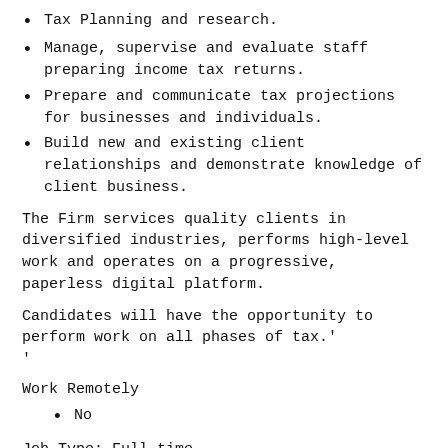Tax Planning and research.
Manage, supervise and evaluate staff preparing income tax returns.
Prepare and communicate tax projections for businesses and individuals.
Build new and existing client relationships and demonstrate knowledge of client business.
The Firm services quality clients in diversified industries, performs high-level work and operates on a progressive, paperless digital platform.
Candidates will have the opportunity to perform work on all phases of tax.' ‘
Work Remotely
No
Job Type: Full-time